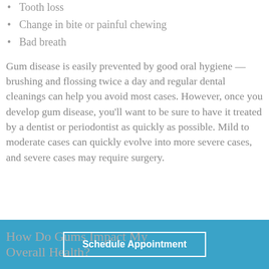Tooth loss
Change in bite or painful chewing
Bad breath
Gum disease is easily prevented by good oral hygiene — brushing and flossing twice a day and regular dental cleanings can help you avoid most cases. However, once you develop gum disease, you'll want to be sure to have it treated by a dentist or periodontist as quickly as possible. Mild to moderate cases can quickly evolve into more severe cases, and severe cases may require surgery.
How Do Gums Impact My Overall Health?